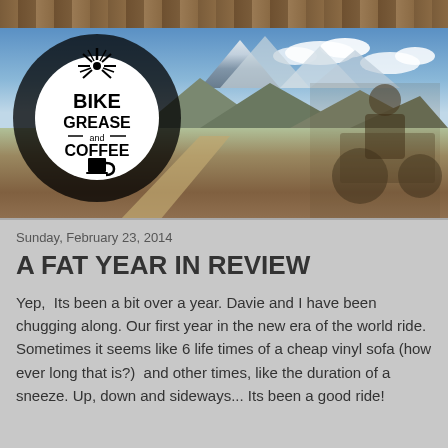[Figure (photo): Header image showing a cyclist on a mountain road with scenic mountain backdrop and a Bike Grease and Coffee logo overlay on the left side. Wood plank texture at the top.]
Sunday, February 23, 2014
A FAT YEAR IN REVIEW
Yep,  Its been a bit over a year. Davie and I have been chugging along. Our first year in the new era of the world ride. Sometimes it seems like 6 life times of a cheap vinyl sofa (how ever long that is?)  and other times, like the duration of a sneeze. Up, down and sideways... Its been a good ride!